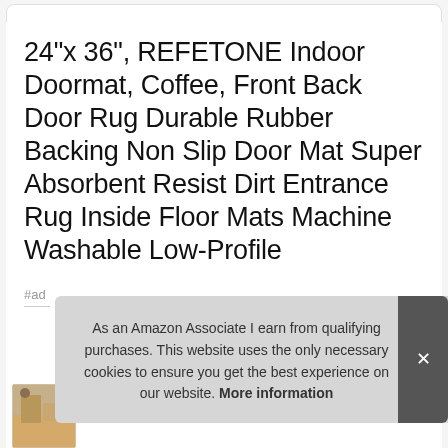24"x 36", REFETONE Indoor Doormat, Coffee, Front Back Door Rug Durable Rubber Backing Non Slip Door Mat Super Absorbent Resist Dirt Entrance Rug Inside Floor Mats Machine Washable Low-Profile
#ad
As an Amazon Associate I earn from qualifying purchases. This website uses the only necessary cookies to ensure you get the best experience on our website. More information